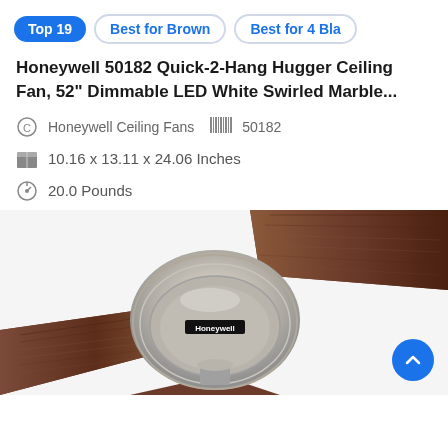Top 19 | Best for Brown | Best for 4 Bla
Honeywell 50182 Quick-2-Hang Hugger Ceiling Fan, 52" Dimmable LED White Swirled Marble...
Honeywell Ceiling Fans  50182
10.16 x 13.11 x 24.06 Inches
20.0 Pounds
[Figure (photo): Close-up photo of a Honeywell ceiling fan with brushed nickel motor housing and dark brown wood-grain blades, showing the Honeywell logo on the center canopy.]